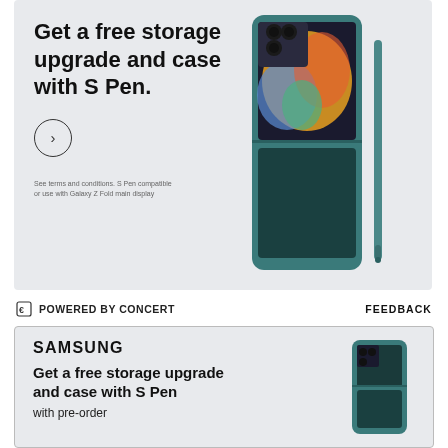[Figure (illustration): Samsung advertisement banner with light gray background. Left side has bold headline text 'Get a free storage upgrade and case with S Pen.' with a circle arrow button and fine print below. Right side shows a teal/green Samsung Galaxy Z Fold4 phone with S Pen stylus.]
Get a free storage upgrade and case with S Pen.
See terms and conditions. S Pen compatible or use with Galaxy Z Fold main display
POWERED BY CONCERT
FEEDBACK
[Figure (illustration): Samsung advertisement banner with light gray background and border. Shows SAMSUNG logo, bold headline 'Get a free storage upgrade and case with S Pen' with subtext 'with pre-order'. Right side shows teal Samsung Galaxy Z Fold4 phone.]
SAMSUNG
Get a free storage upgrade and case with S Pen
with pre-order